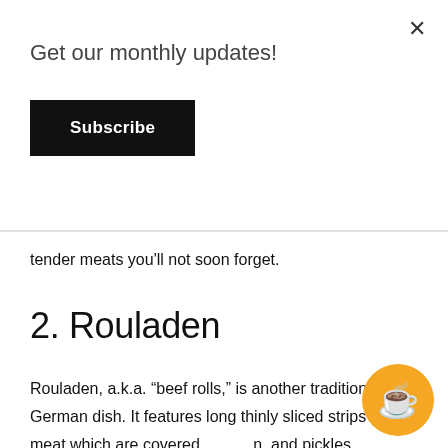Get our monthly updates!
Subscribe
tender meats you’ll not soon forget.
2. Rouladen
Rouladen, a.k.a. “beef rolls,” is another traditional German dish. It features long thinly sliced strips of meat which are covered [...]n, and pickles. T[...] to enclose the fillin[...] in a rich gravy. It [...]ust Fearing S[...]ne fo team” and gave it a try!
Thank you for supporting local businesses (and our caffeine habit!) as we travel. 🥰